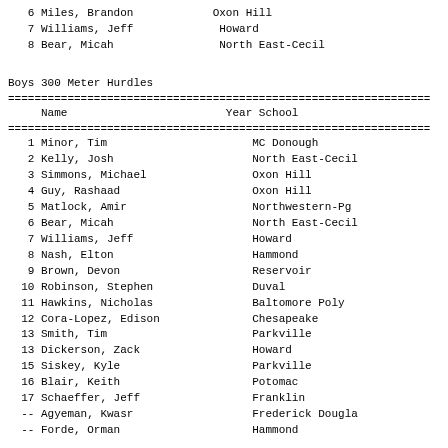| # | Name | Year | School |
| --- | --- | --- | --- |
| 6 | Miles, Brandon |  | Oxon Hill |
| 7 | Williams, Jeff |  | Howard |
| 8 | Bear, Micah |  | North East-Cecil |
Boys 300 Meter Hurdles
| Name | Year | School |
| --- | --- | --- |
| 1 | Minor, Tim |  | MC Donough |
| 2 | Kelly, Josh |  | North East-Cecil |
| 3 | Simmons, Michael |  | Oxon Hill |
| 4 | Guy, Rashaad |  | Oxon Hill |
| 5 | Matlock, Amir |  | Northwestern-Pg |
| 6 | Bear, Micah |  | North East-Cecil |
| 7 | Williams, Jeff |  | Howard |
| 8 | Nash, Elton |  | Hammond |
| 9 | Brown, Devon |  | Reservoir |
| 10 | Robinson, Stephen |  | Duval |
| 11 | Hawkins, Nicholas |  | Baltomore Poly |
| 12 | Cora-Lopez, Edison |  | Chesapeake |
| 13 | Smith, Tim |  | Parkville |
| 13 | Dickerson, Zack |  | Howard |
| 15 | Siskey, Kyle |  | Parkville |
| 16 | Blair, Keith |  | Potomac |
| 17 | Schaeffer, Jeff |  | Franklin |
| -- | Agyeman, Kwasr |  | Frederick Dougla |
| -- | Forde, Orman |  | Hammond |
Boys 4x100 Meter Relay